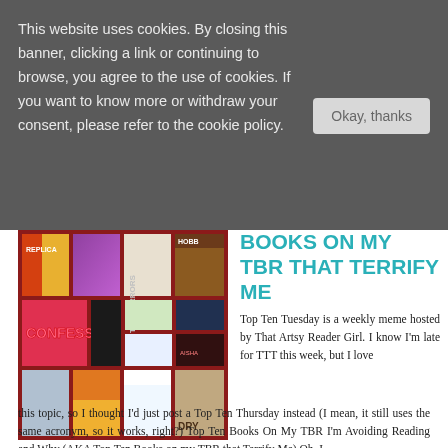This website uses cookies. By closing this banner, clicking a link or continuing to browse, you agree to the use of cookies. If you want to know more or withdraw your consent, please refer to the cookie policy.
[Figure (illustration): Book cover collage with multiple book covers arranged in a grid on a dark red background, including Replica, Confess, HOBB, and other titles, with 'TBR TERRORS' text overlay]
BOOKS ON MY TBR THAT TERRIFY ME
Top Ten Tuesday is a weekly meme hosted by That Artsy Reader Girl. I know I'm late for TTT this week, but I love this topic, so I thought I'd just post a Top Ten Thursday instead (I mean, it still uses the same acronym, so it works, right?) Top Ten Books On My TBR I'm Avoiding Reading and Why (AKA Top Ten Books on my TBR that Terrify Me) Oh, I